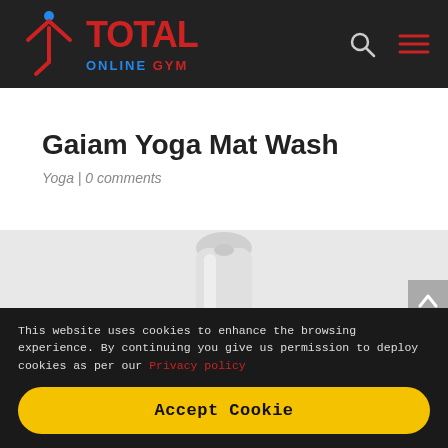[Figure (logo): Total Online Gym logo with stylized Y figure in red and blue on dark navbar background, with search icon and hamburger menu icon on the right]
Gaiam Yoga Mat Wash
Yoga | 0 comments
[Figure (photo): Partial view of a white spray bottle (yoga mat wash product) against a light background]
This website uses cookies to enhance the browsing experience. By continuing you give us permission to deploy cookies as per our Privacy policy
Accept Cookie